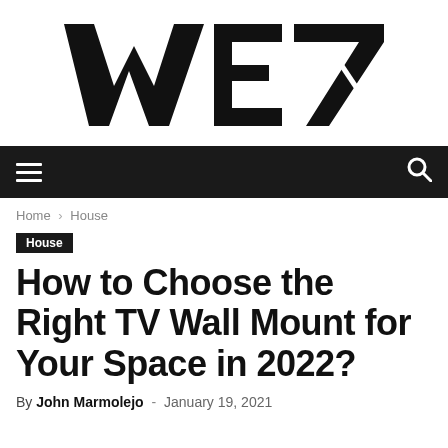[Figure (logo): WE7 logo in bold black stylized lettering on white background]
≡  🔍
Home › House
House
How to Choose the Right TV Wall Mount for Your Space in 2022?
By John Marmolejo - January 19, 2021